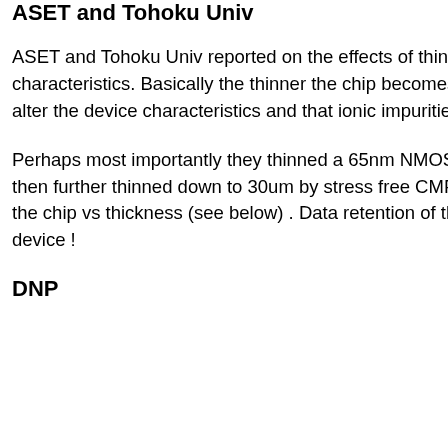ASET and Tohoku Univ
ASET and Tohoku Univ reported on the effects of thinning on DRAM and CMOS device characteristics. Basically the thinner the chip becomes, the more likely it is that mechanical stress will alter the device characteristics and that ionic impurities will contaminate the transistors.
Perhaps most importantly they thinned a 65nm NMOS DRAM to 200 um by mechanical grinding and then further thinned down to 30um by stress free CMP. They then examined the data retention time of the chip vs thickness (see below) . Data retention of the 30um thick device was ½ of that of the 200um device !
DNP
Wed Jul 03 16:
IFTLE 152 Conference
Sat Jun 22 16:0
IFTLE 151 Conf part 1
Sun Jun 16 11:
IFTLE 150 b
Mon Jun 10 10:
IFTLE 149
Tue Jun 04 09:4
IFTLE 148 From 50,00
Sat May 25 11:
IFTLE 147 Updates 2.
Mon May 13 10:
IFTLE 146 OSAT Mkt b
Sat May 04 12:
IFTLE 145 SF; ConFab
Sun Apr 28 15: